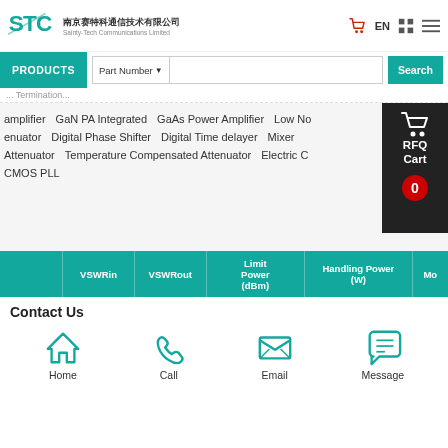[Figure (logo): Sainty-Tech Communications Limited logo with Chinese text 南京赛特科通信技术有限公司 and English subtitle]
PRODUCTS   Part Number ▼   Search
... Termination...
amplifier   GaN PA Integrated   GaAs Power Amplifier   Low No...
enuator   Digital Phase Shifter   Digital Time delayer   Mixer...
Attenuator   Temperature Compensated Attenuator   Electric C...
CMOS PLL
[Figure (screenshot): RFQ Cart panel with cart icon, RFQ Cart label, and badge showing 0]
|  | VSWRin | VSWRout | Limit Power (dBm) | Handling Power (W) | Mo... |
| --- | --- | --- | --- | --- | --- |
Contact Us
[Figure (infographic): Contact icons: Home, Call, Email, Message with teal colored icons]